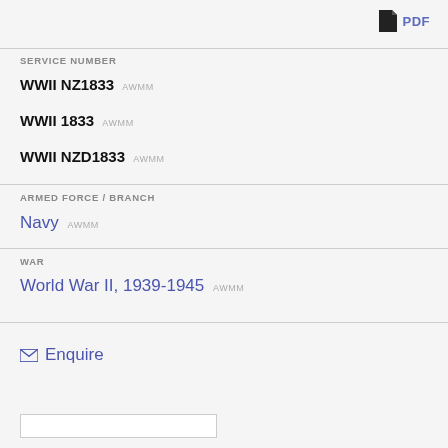PDF
SERVICE NUMBER
WWII NZ1833 AWMM
WWII 1833 AWMM
WWII NZD1833 AWMM
ARMED FORCE / BRANCH
Navy AWMM
WAR
World War II, 1939-1945 AWMM
Enquire